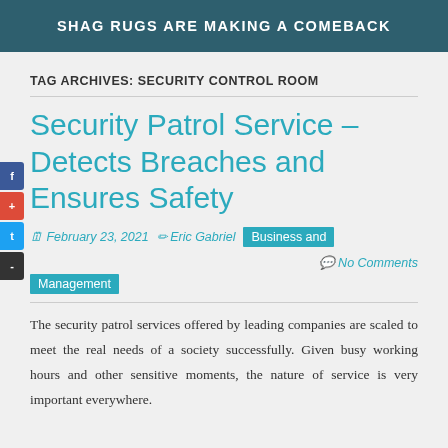SHAG RUGS ARE MAKING A COMEBACK
TAG ARCHIVES: SECURITY CONTROL ROOM
Security Patrol Service – Detects Breaches and Ensures Safety
February 23, 2021   Eric Gabriel   Business and Management   No Comments
The security patrol services offered by leading companies are scaled to meet the real needs of a society successfully. Given busy working hours and other sensitive moments, the nature of service is very important everywhere.